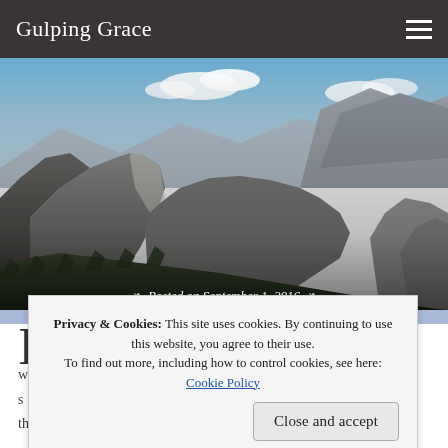Gulping Grace
[Figure (photo): Panoramic landscape photo of Yosemite Valley showing Half Dome and surrounding granite mountains under a blue sky with clouds. Posted on September 1, 2016. Title: None & Done?]
None & Done?
Posted on September 1, 2016
Privacy & Cookies: This site uses cookies. By continuing to use this website, you agree to their use. To find out more, including how to control cookies, see here: Cookie Policy
things – Nun, and None. You've heard of the rise of